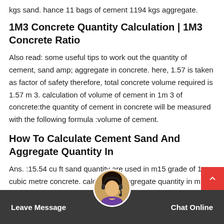kgs sand. hance 11 bags of cement 1194 kgs aggregate.
1M3 Concrete Quantity Calculation | 1M3 Concrete Ratio
Also read: some useful tips to work out the quantity of cement, sand amp; aggregate in concrete. here, 1.57 is taken as factor of safety therefore, total concrete volume required is 1.57 m 3. calculation of volume of cement in 1m 3 of concrete:the quantity of cement in concrete will be measured with the following formula :volume of cement.
How To Calculate Cement Sand And Aggregate Quantity In
Ans. :15.54 cu ft sand quantity are used in m15 grade of 1 cubic metre concrete. calc aggregate quantity in m15 grade of 1m3 concre (47)1.54 35 32. volume of aggregate 31 cu ft ons. :31 cu ft agaregate
Leave Message   Chat Online